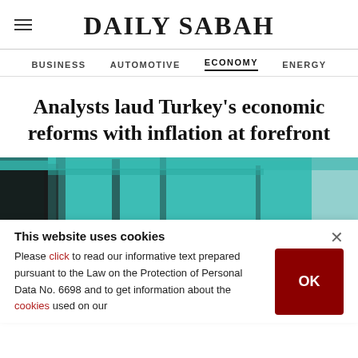DAILY SABAH
BUSINESS  AUTOMOTIVE  ECONOMY  ENERGY
Analysts laud Turkey's economic reforms with inflation at forefront
[Figure (photo): Outdoor market or restaurant area with teal/turquoise fabric awnings and wooden poles]
This website uses cookies
Please click to read our informative text prepared pursuant to the Law on the Protection of Personal Data No. 6698 and to get information about the cookies used on our